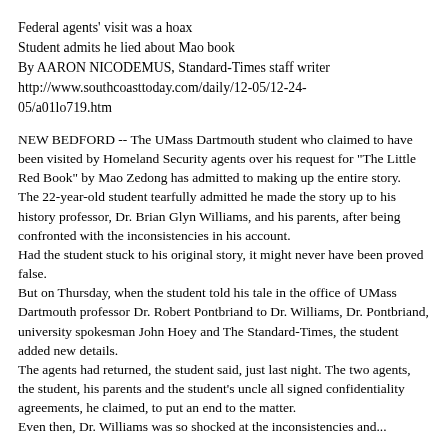Federal agents' visit was a hoax
Student admits he lied about Mao book
By AARON NICODEMUS, Standard-Times staff writer
http://www.southcoasttoday.com/daily/12-05/12-24-05/a01lo719.htm
NEW BEDFORD -- The UMass Dartmouth student who claimed to have been visited by Homeland Security agents over his request for "The Little Red Book" by Mao Zedong has admitted to making up the entire story.
The 22-year-old student tearfully admitted he made the story up to his history professor, Dr. Brian Glyn Williams, and his parents, after being confronted with the inconsistencies in his account.
Had the student stuck to his original story, it might never have been proved false.
But on Thursday, when the student told his tale in the office of UMass Dartmouth professor Dr. Robert Pontbriand to Dr. Williams, Dr. Pontbriand, university spokesman John Hoey and The Standard-Times, the student added new details.
The agents had returned, the student said, just last night. The two agents, the student, his parents and the student's uncle all signed confidentiality agreements, he claimed, to put an end to the matter.
Even then, Dr. Williams was so shocked at the inconsistencies and...